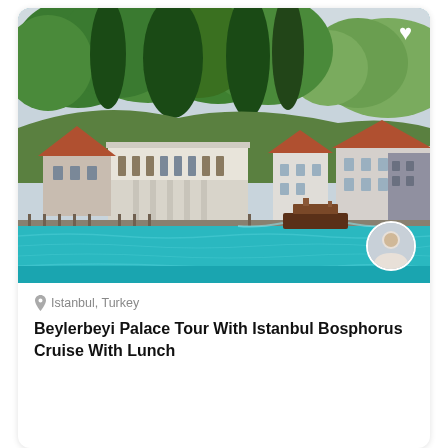[Figure (photo): Bosphorus waterfront scene showing historical white palace building with terracotta-roofed villas among dense green trees on a hillside, with turquoise-blue water in the foreground and a boat passing by. Istanbul, Turkey.]
Istanbul, Turkey
Beylerbeyi Palace Tour With Istanbul Bosphorus Cruise With Lunch